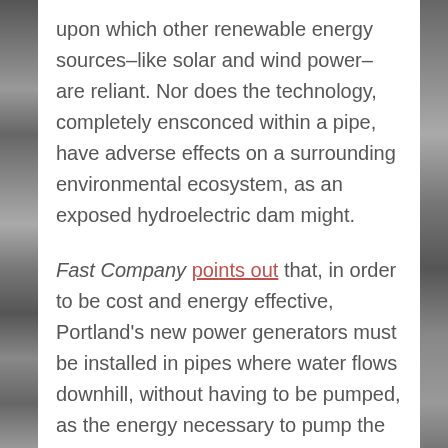upon which other renewable energy sources–like solar and wind power– are reliant. Nor does the technology, completely ensconced within a pipe, have adverse effects on a surrounding environmental ecosystem, as an exposed hydroelectric dam might.

Fast Company points out that, in order to be cost and energy effective, Portland's new power generators must be installed in pipes where water flows downhill, without having to be pumped, as the energy necessary to pump the water would negate the subsequent energy gleaned. However, Fast Company also notes